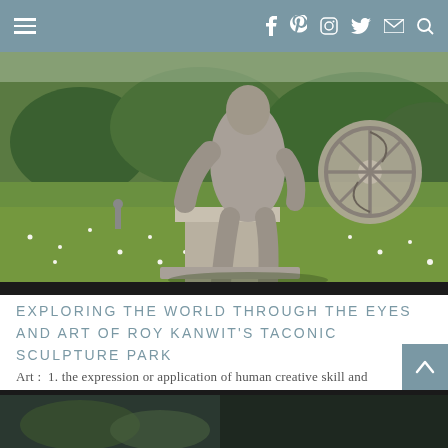Navigation bar with hamburger menu and social icons (Facebook, Pinterest, Instagram, Twitter, Email, Search)
[Figure (photo): Outdoor sculpture garden photo showing a large grey stone/concrete sculpture of a figure on a plinth, with a decorative wheel-like stone element, set on a green meadow with wildflowers and trees in the background.]
EXPLORING THE WORLD THROUGH THE EYES AND ART OF ROY KANWIT'S TACONIC SCULPTURE PARK
Art :  1. the expression or application of human creative skill and imagination, typically in a visual form such as painting or ...
[Figure (photo): Partial bottom image strip showing another outdoor scene in dark tones.]